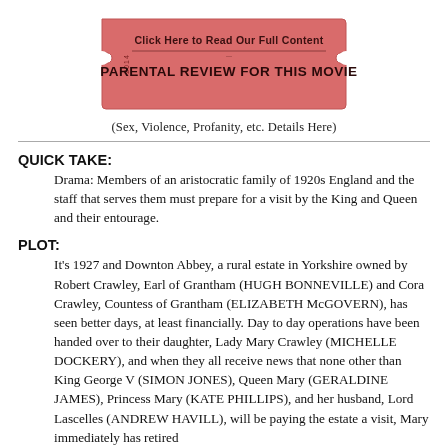[Figure (other): Pink/red ticket stub graphic with text 'Click Here to Read Our Full Content' and 'PARENTAL REVIEW FOR THIS MOVIE', year '2014' printed on both sides vertically]
(Sex, Violence, Profanity, etc. Details Here)
QUICK TAKE:
Drama: Members of an aristocratic family of 1920s England and the staff that serves them must prepare for a visit by the King and Queen and their entourage.
PLOT:
It's 1927 and Downton Abbey, a rural estate in Yorkshire owned by Robert Crawley, Earl of Grantham (HUGH BONNEVILLE) and Cora Crawley, Countess of Grantham (ELIZABETH McGOVERN), has seen better days, at least financially. Day to day operations have been handed over to their daughter, Lady Mary Crawley (MICHELLE DOCKERY), and when they all receive news that none other than King George V (SIMON JONES), Queen Mary (GERALDINE JAMES), Princess Mary (KATE PHILLIPS), and her husband, Lord Lascelles (ANDREW HAVILL), will be paying the estate a visit, Mary immediately has retired